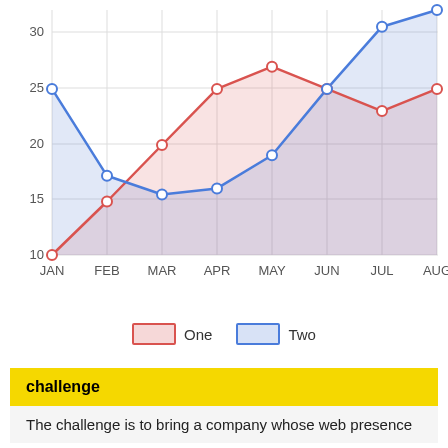[Figure (area-chart): ]
challenge
The challenge is to bring a company whose web presence